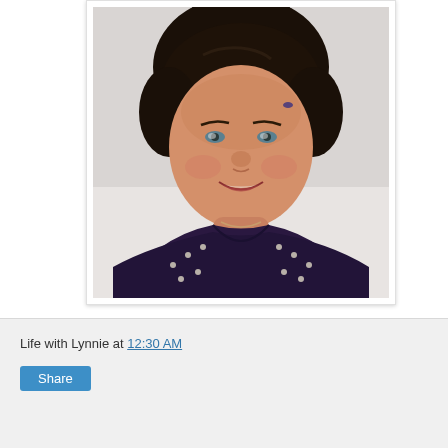[Figure (photo): Portrait photograph of a woman with short dark hair, wearing a dark purple/black top with silver studs, smiling at the camera against a light background.]
Life with Lynnie at 12:30 AM
Share